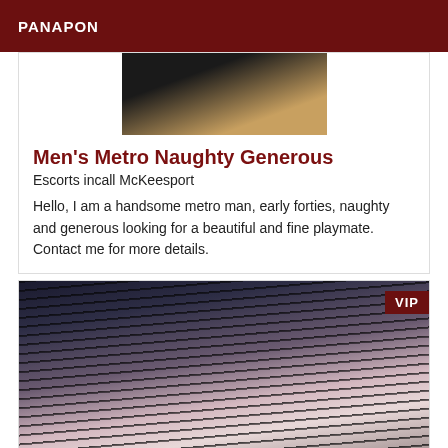PANAPON
[Figure (photo): Top portion of a person photo, cropped, showing dark clothing and golden/warm tones at top]
Men's Metro Naughty Generous
Escorts incall McKeesport
Hello, I am a handsome metro man, early forties, naughty and generous looking for a beautiful and fine playmate. Contact me for more details.
[Figure (photo): Photo of a woman with long dark hair wearing a light pink outfit with a gold chain bag, standing in front of a night cityscape with a VIP badge in the top right corner]